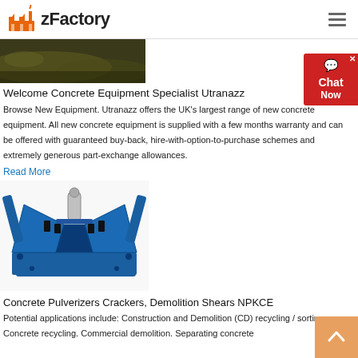zFactory
[Figure (photo): Aerial/ground-level photo of a quarry or excavation site with earth and machinery visible]
Welcome Concrete Equipment Specialist Utranazz
Browse New Equipment. Utranazz offers the UK's largest range of new concrete equipment. All new concrete equipment is supplied with a f... months warranty and can be offered with guaranteed buy-back, hire-with-option-to-purchase schemes and extremely generous part-exchange allowances.
Read More
[Figure (photo): Blue industrial concrete pulverizer / demolition shear attachment machine (NPKCE) shown from an angle]
Concrete Pulverizers Crackers, Demolition Shears NPKCE
Potential applications include: Construction and Demolition (CD) recycling / sorting. Concrete recycling. Commercial demolition. Separating concrete